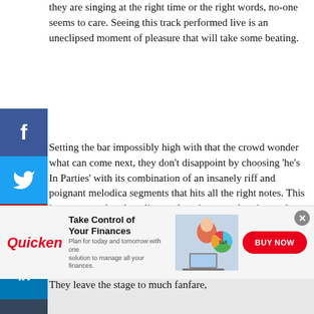they are singing at the right time or the right words, no-one seems to care. Seeing this track performed live is an uneclipsed moment of pleasure that will take some beating.
Setting the bar impossibly high with that the crowd wonder what can come next, they don't disappoint by choosing 'he's In Parties' with its combination of an insanely riff and poignant melodica segments that hits all the right notes. This is a great track to hear live as there is so much going on but at the same time its beautifully simplistic. They follow it with 'Adrenaline' from 2008's Go Away White, Bauhaus' last studio album. The whole thing is drawn neatly to a close by, ironically, going straight back to the beginning 'Dark Entries'. They leave the stage to much fanfare,
[Figure (other): Social media share buttons bar: Facebook (blue), Twitter (blue), Pinterest (red), LinkedIn (blue), Tumblr (dark blue)]
[Figure (other): Advertisement banner: Quicken 'Take Control of Your Finances' ad with woman at laptop and BUY NOW button]